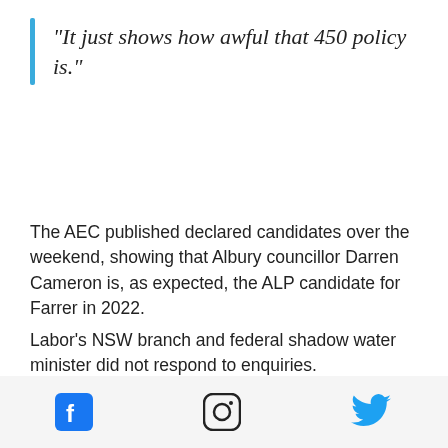"It just shows how awful that 450 policy is."
The AEC published declared candidates over the weekend, showing that Albury councillor Darren Cameron is, as expected, the ALP candidate for Farrer in 2022.
Labor's NSW branch and federal shadow water minister did not respond to enquiries.
[Figure (infographic): Social share icons: Facebook, Twitter, link/chain icon, and scroll-to-top button]
[Figure (infographic): Footer bar with social media icons: Facebook (blue), Instagram, Twitter (blue)]